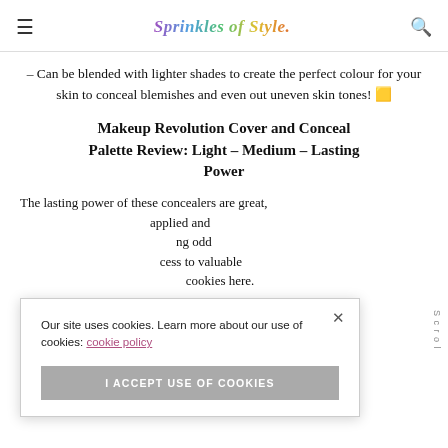Sprinkles of Style
– Can be blended with lighter shades to create the perfect colour for your skin to conceal blemishes and even out uneven skin tones! 🌟
Makeup Revolution Cover and Conceal Palette Review: Light – Medium – Lasting Power
The lasting power of these concealers are great, applied and ng odd cess to valuable cookies here.
Our site uses cookies. Learn more about our use of cookies: cookie policy
I ACCEPT USE OF COOKIES